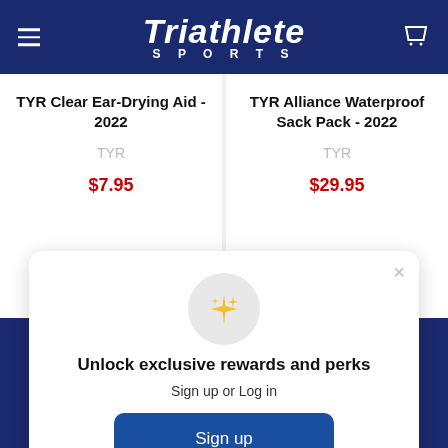Triathlete SPORTS
TYR Clear Ear-Drying Aid - 2022
TYR
$7.95
TYR Alliance Waterproof Sack Pack - 2022
TYR
$29.95
[Figure (screenshot): Modal popup with sparkle icon, heading 'Unlock exclusive rewards and perks', subtext 'Sign up or Log in', a blue 'Sign up' button, and 'Already have an account? Sign in' link]
Unlock exclusive rewards and perks
Sign up or Log in
Sign up
Already have an account? Sign in